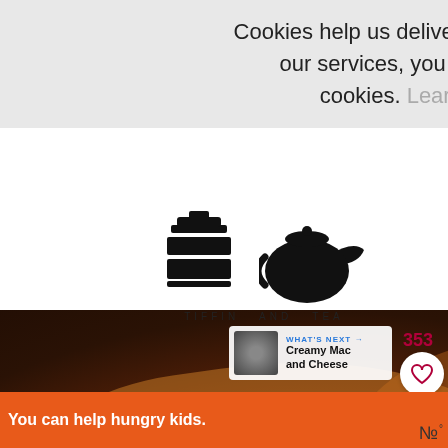Cookies help us deliver our services. By using our services, you agree to our use of cookies. Learn more  Got it
[Figure (logo): Tiffin and Tea logo with tiffin box and teapot icons, text 'TIFFIN AND TEA']
[Figure (photo): Close-up food photo of golden-brown cheesy baked dish in dark pan]
353
163
WHAT'S NEXT → Creamy Mac and Cheese
You can help hungry kids. NO KID HUNGRY LEARN HOW